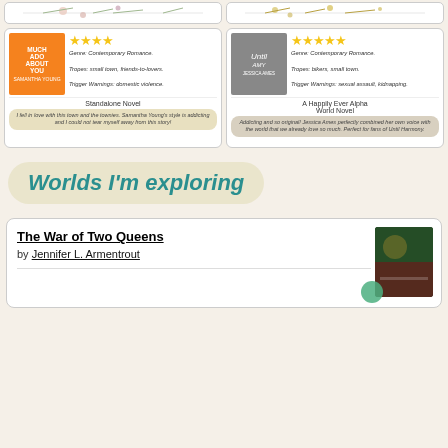[Figure (illustration): Two decorative floral/botanical banner cards at top]
[Figure (illustration): Book review card for 'Much Ado About You' by Samantha Young. 4 stars. Genre: Contemporary Romance. Tropes: small town, friends-to-lovers. Trigger Warnings: domestic violence. Standalone Novel. Review: I fell in love with this town and the townies. Samantha Young's style is addicting and I could not tear myself away from this story!]
[Figure (illustration): Book review card for 'Until Amy' by Jessica Ames. 5 stars. Genre: Contemporary Romance. Tropes: bikers, small town. Trigger Warnings: sexual assault, kidnapping. A Happily Ever Alpha World Novel. Review: Addicting and so original! Jessica Ames perfectly combined her own voice with the world that we already love so much. Perfect for fans of Until Harmony.]
Worlds I'm exploring
The War of Two Queens
by Jennifer L. Armentrout